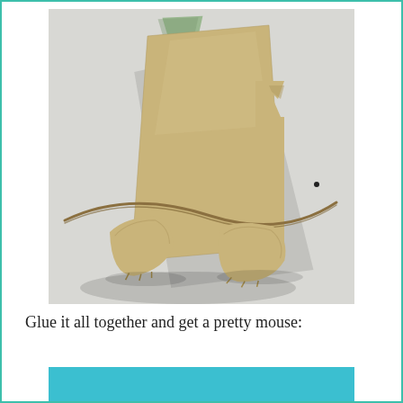[Figure (photo): Paper craft mouse components laid out on a light grey background: a large tilted cardboard body piece, a triangular green-tinted ear, curved whisker strips, and two foot/leg pieces made from beige cardboard.]
Glue it all together and get a pretty mouse:
[Figure (photo): Blue strip at the bottom, partial view of assembled paper mouse.]